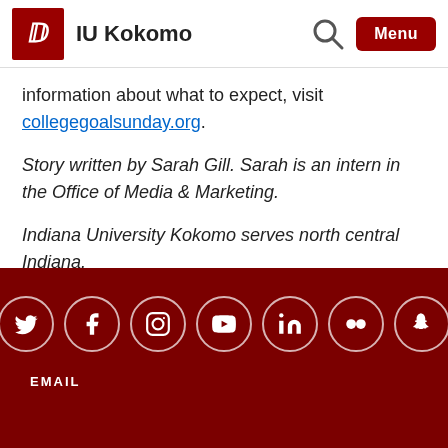IU Kokomo
information about what to expect, visit collegegoalsunday.org.
Story written by Sarah Gill. Sarah is an intern in the Office of Media & Marketing.
Indiana University Kokomo serves north central Indiana.
[Figure (infographic): Social media icons in white circles on dark red background: Twitter, Facebook, Instagram, YouTube, LinkedIn, Flickr, Snapchat]
EMAIL